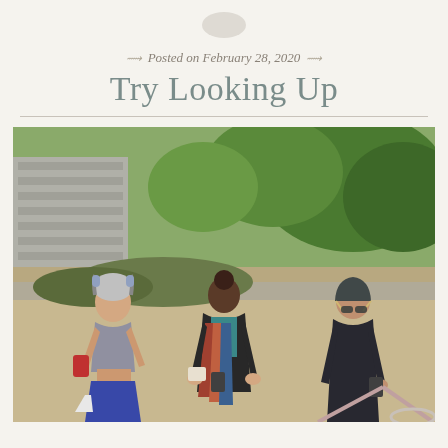Posted on February 28, 2020
Try Looking Up
[Figure (photo): Three people standing outdoors on a sandy path, each looking down at their smartphones. Left: a young woman in athletic wear with headphones and a grey beanie, wearing a grey sports top and blue shorts, holding a red phone. Center: a woman in a black jacket with a teal shirt and colourful scarf, looking at her phone. Right: a person wearing a bicycle helmet and dark jacket, looking at a phone, with a bicycle partially visible. Background shows green trees and a concrete wall.]